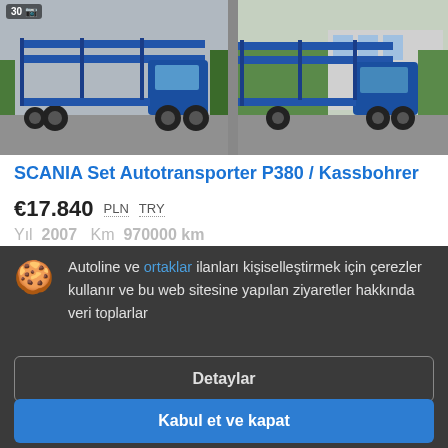[Figure (photo): Two blue SCANIA autotransporter trucks (P380/Kassbohrer) shown from the side. Left photo has a '30' badge in top left corner. Right photo shows the truck parked near a building with trees in background.]
SCANIA Set Autotransporter P380 / Kassbohrer
€17.840  PLN  TRY
Yıl  2007  Km  970000 km
Autoline ve ortaklar ilanları kişiselleştirmek için çerezler kullanır ve bu web sitesine yapılan ziyaretler hakkında veri toplarlar
Detaylar
Kabul et ve kapat
[Figure (photo): Partial bottom image strip showing a dark/blurred vehicle photo]